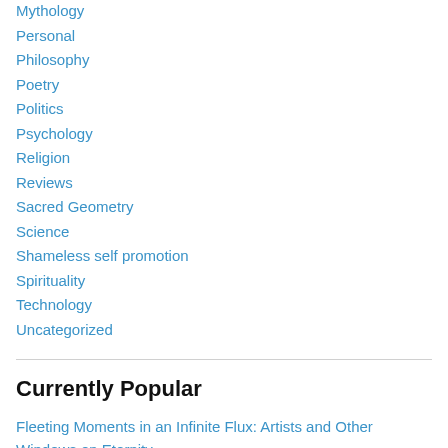Mythology
Personal
Philosophy
Poetry
Politics
Psychology
Religion
Reviews
Sacred Geometry
Science
Shameless self promotion
Spirituality
Technology
Uncategorized
Currently Popular
Fleeting Moments in an Infinite Flux: Artists and Other Windows on Eternity